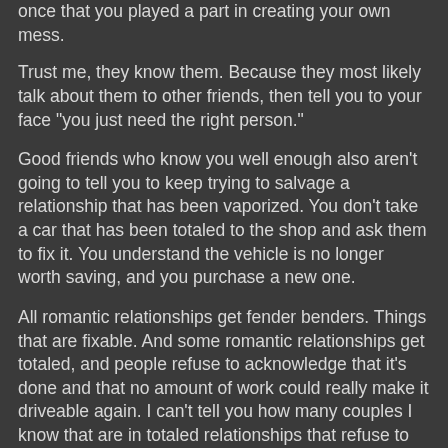once that you played a part in creating your own mess.
Trust me, they know them.  Because they most likely talk about them to other friends, then tell you to your face "you just need the right person."
Good friends who know you well enough also aren't going to tell you to keep trying to salvage a relationship that has been vaporized.  You don't take a car that has been totaled to the shop and ask them to fix it.  You understand the vehicle is no longer worth saving, and you purchase a new one.
All romantic relationships get fender benders.  Things that are fixable.  And some romantic relationships get totaled, and people refuse to acknowledge that it's done and that no amount of work could really make it driveable again.  I can't tell you how many couples I know that are in totaled relationships that refuse to acknowledge that the scrapyard is the only proper place for said relationship to go.
"You've got to know when to hold 'em, know when to fold 'em,
Know when to walk away, know when to run."  Kenny